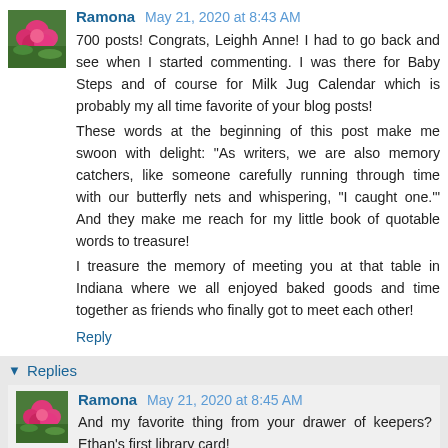[Figure (photo): Small square avatar image showing pink flowers against green background]
Ramona May 21, 2020 at 8:43 AM
700 posts! Congrats, Leighh Anne! I had to go back and see when I started commenting. I was there for Baby Steps and of course for Milk Jug Calendar which is probably my all time favorite of your blog posts!
These words at the beginning of this post make me swoon with delight: "As writers, we are also memory catchers, like someone carefully running through time with our butterfly nets and whispering, "I caught one.'" And they make me reach for my little book of quotable words to treasure!
I treasure the memory of meeting you at that table in Indiana where we all enjoyed baked goods and time together as friends who finally got to meet each other!
Reply
Replies
[Figure (photo): Small square avatar image showing pink flowers against green background]
Ramona May 21, 2020 at 8:45 AM
And my favorite thing from your drawer of keepers? Ethan's first library card!